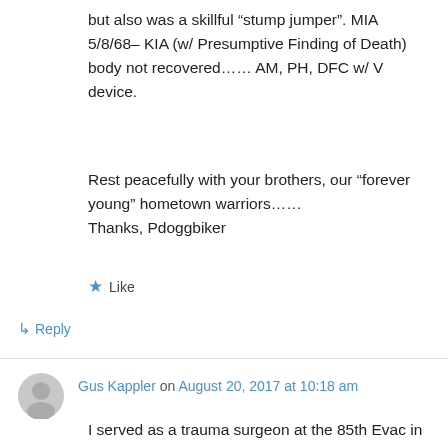but also was a skillful “stump jumper”. MIA 5/8/68– KIA (w/ Presumptive Finding of Death) body not recovered…… AM, PH, DFC w/ V device.
Rest peacefully with your brothers, our “forever young” hometown warriors……
Thanks, Pdoggbiker
★ Like
↳ Reply
Gus Kappler on August 20, 2017 at 10:18 am
I served as a trauma surgeon at the 85th Evac in Phu Bai.
We rededicated (originally dedicated in 1984)